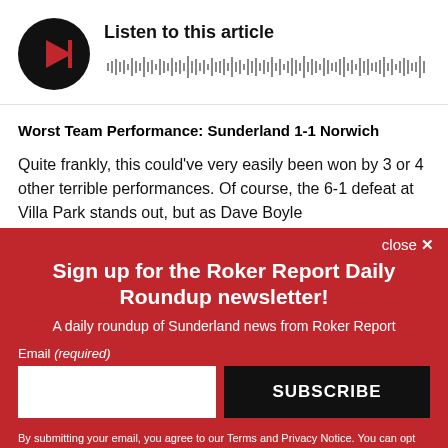[Figure (other): Audio player widget with circular black play button with red triangle icon, article title 'Listen to this article', and a waveform/progress bar]
Worst Team Performance: Sunderland 1-1 Norwich
Quite frankly, this could've very easily been won by 3 or 4 other terrible performances. Of course, the 6-1 defeat at Villa Park stands out, but as Dave Boyle
close ×
Sign up for the Roker Report Daily Roundup newsletter!
A daily roundup of Sunderland news from Roker Report
Email (required)
SUBSCRIBE
By submitting your email, you agree to our Terms and Privacy Notice. You can opt out at any time. This site is protected by reCAPTCHA and the Google Privacy Policy and Terms of Service apply.